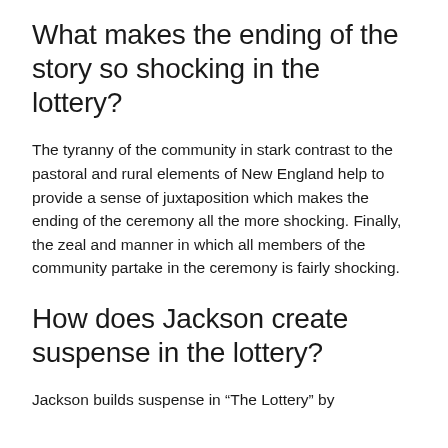What makes the ending of the story so shocking in the lottery?
The tyranny of the community in stark contrast to the pastoral and rural elements of New England help to provide a sense of juxtaposition which makes the ending of the ceremony all the more shocking. Finally, the zeal and manner in which all members of the community partake in the ceremony is fairly shocking.
How does Jackson create suspense in the lottery?
Jackson builds suspense in “The Lottery” by